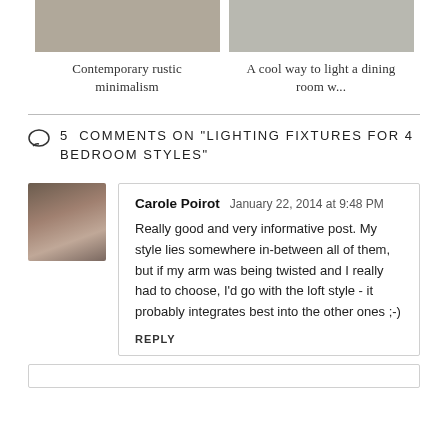[Figure (photo): Thumbnail image of interior room with contemporary rustic minimalism style]
Contemporary rustic minimalism
[Figure (photo): Thumbnail image of dining room with lighting fixtures]
A cool way to light a dining room w...
5 COMMENTS ON "LIGHTING FIXTURES FOR 4 BEDROOM STYLES"
[Figure (photo): Avatar photo of commenter Carole Poirot]
Carole Poirot  January 22, 2014 at 9:48 PM
Really good and very informative post. My style lies somewhere in-between all of them, but if my arm was being twisted and I really had to choose, I'd go with the loft style - it probably integrates best into the other ones ;-)
REPLY